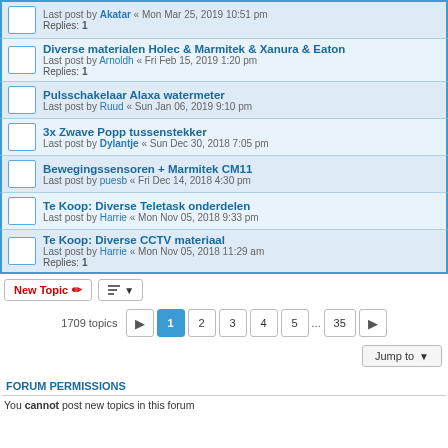Last post by Akatar « Mon Mar 25, 2019 10:51 pm
Replies: 1
Diverse materialen Holec & Marmitek & Xanura & Eaton
Last post by Arnoldh « Fri Feb 15, 2019 1:20 pm
Replies: 1
Pulsschakelaar Alaxa watermeter
Last post by Ruud « Sun Jan 06, 2019 9:10 pm
3x Zwave Popp tussenstekker
Last post by Dylantje « Sun Dec 30, 2018 7:05 pm
Bewegingssensoren + Marmitek CM11
Last post by puesb « Fri Dec 14, 2018 4:30 pm
Te Koop: Diverse Teletask onderdelen
Last post by Harrie « Mon Nov 05, 2018 9:33 pm
Te Koop: Diverse CCTV materiaal
Last post by Harrie « Mon Nov 05, 2018 11:29 am
Replies: 1
1709 topics  1 2 3 4 5 ... 35
FORUM PERMISSIONS
You cannot post new topics in this forum